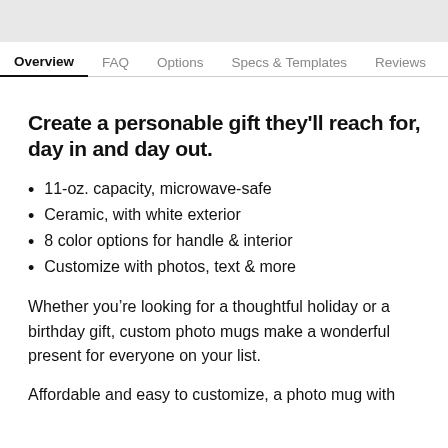[Figure (photo): Partial product image at top of page, gray background]
Overview  FAQ  Options  Specs & Templates  Reviews
Create a personable gift they'll reach for, day in and day out.
11-oz. capacity, microwave-safe
Ceramic, with white exterior
8 color options for handle & interior
Customize with photos, text & more
Whether you’re looking for a thoughtful holiday or a birthday gift, custom photo mugs make a wonderful present for everyone on your list.
Affordable and easy to customize, a photo mug with